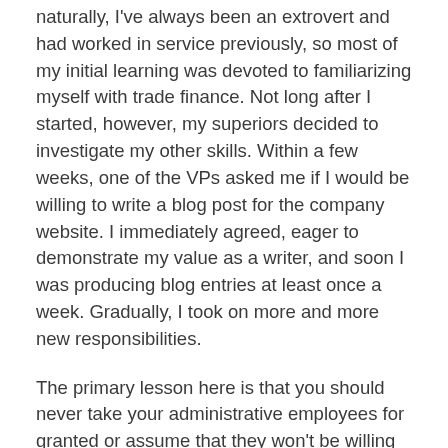naturally, I've always been an extrovert and had worked in service previously, so most of my initial learning was devoted to familiarizing myself with trade finance. Not long after I started, however, my superiors decided to investigate my other skills. Within a few weeks, one of the VPs asked me if I would be willing to write a blog post for the company website. I immediately agreed, eager to demonstrate my value as a writer, and soon I was producing blog entries at least once a week. Gradually, I took on more and more new responsibilities.
The primary lesson here is that you should never take your administrative employees for granted or assume that they won't be willing or able to do more. Offering me the opportunity to use one of my strongest skills, especially in an unexpected context, gave me a new perspective on my job. Suddenly, moving up in the ranks didn't seem so unlikely. When you discover valuable skills in your existing employees, you gain on-site resources, save the money and hassle involved in hiring new ones, and...